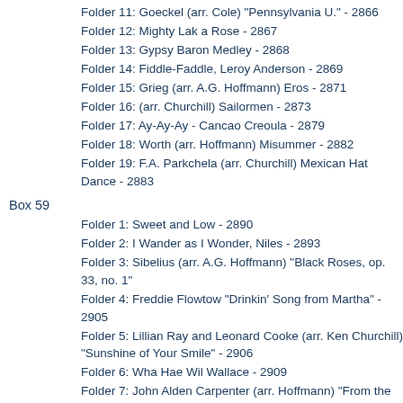Folder 11: Goeckel (arr. Cole) "Pennsylvania U." - 2866
Folder 12: Mighty Lak a Rose - 2867
Folder 13: Gypsy Baron Medley - 2868
Folder 14: Fiddle-Faddle, Leroy Anderson - 2869
Folder 15: Grieg (arr. A.G. Hoffmann) Eros - 2871
Folder 16: (arr. Churchill) Sailormen - 2873
Folder 17: Ay-Ay-Ay - Cancao Creoula - 2879
Folder 18: Worth (arr. Hoffmann) Misummer - 2882
Folder 19: F.A. Parkchela (arr. Churchill) Mexican Hat Dance - 2883
Box 59
Folder 1: Sweet and Low - 2890
Folder 2: I Wander as I Wonder, Niles - 2893
Folder 3: Sibelius (arr. A.G. Hoffmann) "Black Roses, op. 33, no. 1"
Folder 4: Freddie Flowtow "Drinkin' Song from Martha" - 2905
Folder 5: Lillian Ray and Leonard Cooke (arr. Ken Churchill) "Sunshine of Your Smile" - 2906
Folder 6: Wha Hae Wil Wallace - 2909
Folder 7: John Alden Carpenter (arr. Hoffmann) "From the Chinese Epilogue" - 2911-I